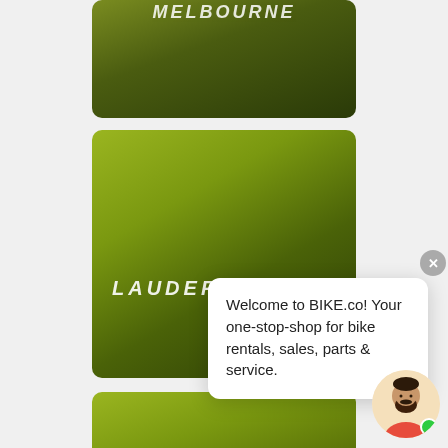[Figure (screenshot): A mobile app screenshot showing a list of location cards for a bike rental/sales service (BIKE.co). Three green-to-dark-olive gradient cards are visible; the second card displays the text LAUDERHILL in white italic uppercase letters. A chat popup overlay reads: Welcome to BIKE.co! Your one-stop-shop for bike rentals, sales, parts & service. A close button (X) and a chatbot avatar with a green online indicator are also visible.]
Welcome to BIKE.co! Your one-stop-shop for bike rentals, sales, parts & service.